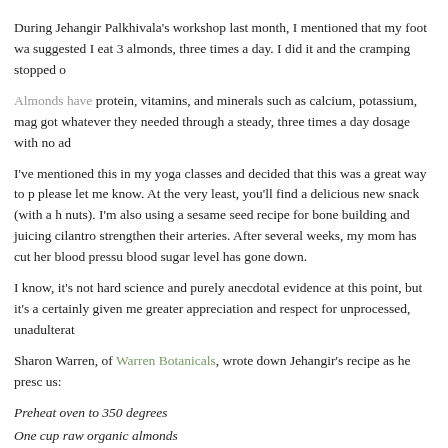During Jehangir Palkhivala's workshop last month, I mentioned that my foot wa... suggested I eat 3 almonds, three times a day. I did it and the cramping stopped o...
Almonds have protein, vitamins, and minerals such as calcium, potassium, mag... got whatever they needed through a steady, three times a day dosage with no ad...
I've mentioned this in my yoga classes and decided that this was a great way to p... please let me know. At the very least, you'll find a delicious new snack (with a h... nuts). I'm also using a sesame seed recipe for bone building and juicing cilantro... strengthen their arteries. After several weeks, my mom has cut her blood pressu... blood sugar level has gone down.
I know, it's not hard science and purely anecdotal evidence at this point, but it's a... certainly given me greater appreciation and respect for unprocessed, unadulterat...
Sharon Warren, of Warren Botanicals, wrote down Jehangir's recipe as he presc... us:
Preheat oven to 350 degrees
One cup raw organic almonds
Juice of 1/2 lime